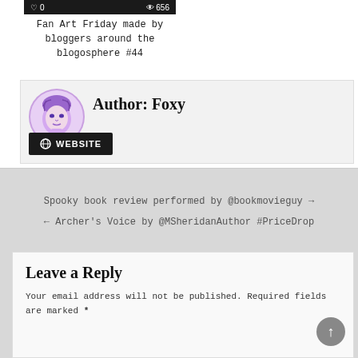[Figure (screenshot): Dark/black banner bar showing heart icon with '0' and eye icon with '656']
Fan Art Friday made by bloggers around the blogosphere #44
Author: Foxy
WEBSITE
Spooky book review performed by @bookmovieguy →
← Archer's Voice by @MSheridanAuthor #PriceDrop
Leave a Reply
Your email address will not be published. Required fields are marked *